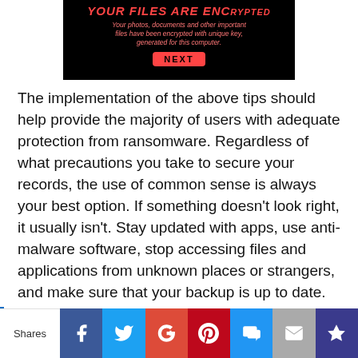[Figure (screenshot): Ransomware screen on black background showing 'YOUR FILES ARE ENCRYPTED' in red bold text, with subtitle text about photos/documents encrypted with unique key, and a red NEXT button]
The implementation of the above tips should help provide the majority of users with adequate protection from ransomware. Regardless of what precautions you take to secure your records, the use of common sense is always your best option. If something doesn't look right, it usually isn't. Stay updated with apps, use anti-malware software, stop accessing files and applications from unknown places or strangers, and make sure that your backup is up to date.
Our Cyber Security Eggsperts are ready to help with protecting you and your business from the threats of cybercriminals and ransomware.
[Figure (infographic): Social media share bar showing: Shares label, Facebook, Twitter, Google+, Pinterest, SMS, Email, and Crown/bookmark icons]